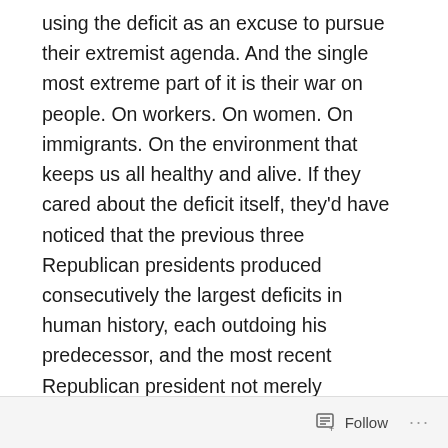using the deficit as an excuse to pursue their extremist agenda. And the single most extreme part of it is their war on people. On workers. On women. On immigrants. On the environment that keeps us all healthy and alive. If they cared about the deficit itself, they'd have noticed that the previous three Republican presidents produced consecutively the largest deficits in human history, each outdoing his predecessor, and the most recent Republican president not merely shattering his father's unprecedented standard, but actually having to destroy the federal surplus built by a Democratic president in order to do so. An impressive feat, by any measure. But when Republicans talk about deficits, you know they are lying. Republicans destroy surpluses and create record deficits. That's the truth.
Follow ···